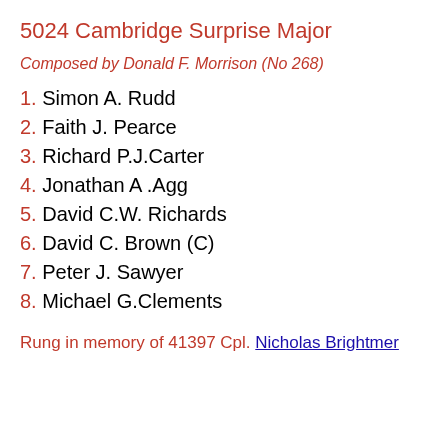5024 Cambridge Surprise Major
Composed by Donald F. Morrison (No 268)
1.  Simon A. Rudd
2.  Faith J. Pearce
3.  Richard P.J.Carter
4.  Jonathan A .Agg
5.  David C.W. Richards
6.  David C. Brown (C)
7.  Peter J. Sawyer
8.  Michael G.Clements
Rung in memory of 41397 Cpl. Nicholas Brightmer